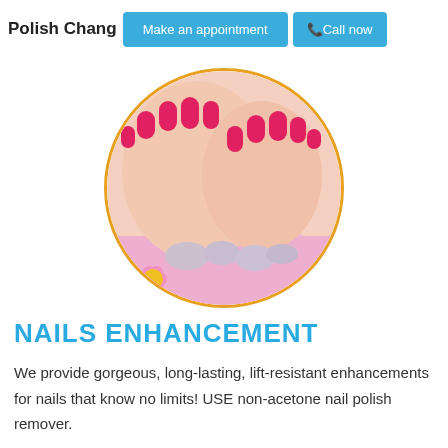Polish Change
Make an appointment
Call now
[Figure (photo): Circular framed photo of two hands with red/pink nail polish resting on a pink towel, with smooth stones and a pink daisy flower in the foreground. Orange circular border around the image.]
NAILS ENHANCEMENT
We provide gorgeous, long-lasting, lift-resistant enhancements for nails that know no limits! USE non-acetone nail polish remover.